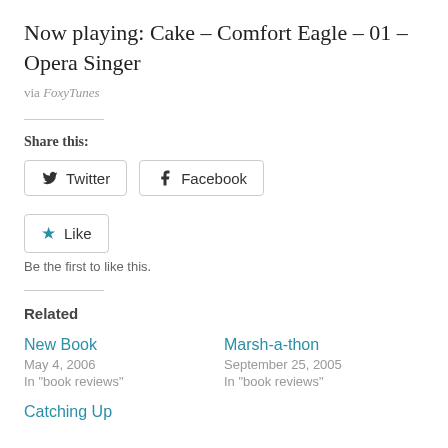Now playing: Cake – Comfort Eagle – 01 – Opera Singer
via FoxyTunes
Share this:
Twitter  Facebook
Like
Be the first to like this.
Related
New Book
May 4, 2006
In "book reviews"
Marsh-a-thon
September 25, 2005
In "book reviews"
Catching Up